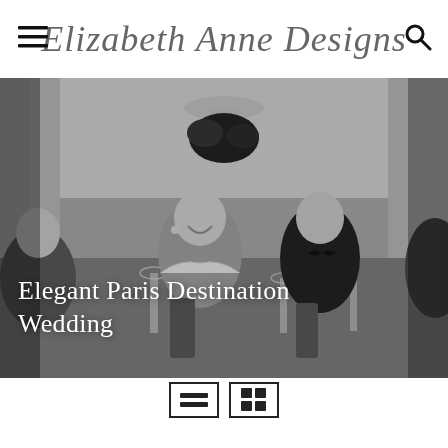Elizabeth Anne Designs
[Figure (photo): Black and white photo of elegantly dressed wedding guests at a reception table, including bride laughing and groom in tuxedo, with floral centerpiece and chandelier in luxurious venue]
Elegant Paris Destination Wedding
[Figure (other): View toggle toolbar with list view icon (two horizontal lines) and grid view icon (four squares) buttons]